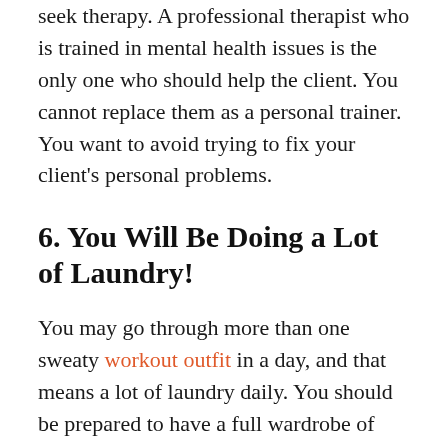seek therapy. A professional therapist who is trained in mental health issues is the only one who should help the client. You cannot replace them as a personal trainer. You want to avoid trying to fix your client's personal problems.
6. You Will Be Doing a Lot of Laundry!
You may go through more than one sweaty workout outfit in a day, and that means a lot of laundry daily. You should be prepared to have a full wardrobe of workout clothes for all